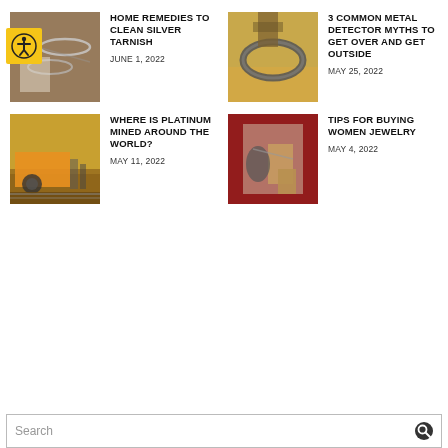[Figure (photo): Silver jewelry on wooden surface]
HOME REMEDIES TO CLEAN SILVER TARNISH
JUNE 1, 2022
[Figure (photo): Metal chain being held over sand, metal detecting]
3 COMMON METAL DETECTOR MYTHS TO GET OVER AND GET OUTSIDE
MAY 25, 2022
[Figure (photo): Large mining truck on dirt road]
WHERE IS PLATINUM MINED AROUND THE WORLD?
MAY 11, 2022
[Figure (photo): Person examining jewelry in a shop]
TIPS FOR BUYING WOMEN JEWELRY
MAY 4, 2022